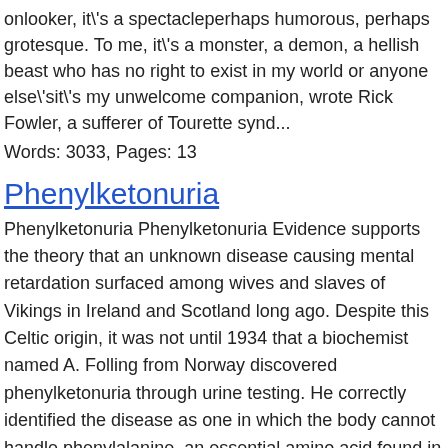onlooker, it's a spectacleperhaps humorous, perhaps grotesque. To me, it's a monster, a demon, a hellish beast who has no right to exist in my world or anyone else'sit's my unwelcome companion, wrote Rick Fowler, a sufferer of Tourette synd...
Words: 3033, Pages: 13
Phenylketonuria
Phenylketonuria Phenylketonuria Evidence supports the theory that an unknown disease causing mental retardation surfaced among wives and slaves of Vikings in Ireland and Scotland long ago. Despite this Celtic origin, it was not until 1934 that a biochemist named A. Folling from Norway discovered phenylketonuria through urine testing. He correctly identified the disease as one in which the body cannot handle phenylalanine, an essential amino acid found in protein. Then